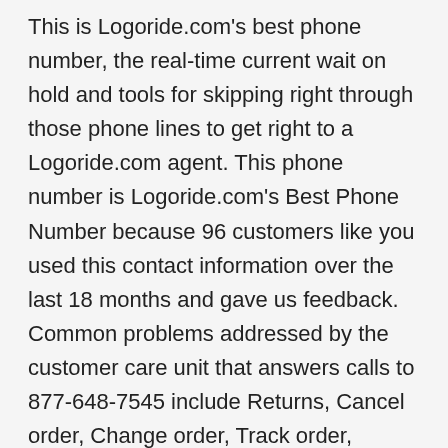This is Logoride.com's best phone number, the real-time current wait on hold and tools for skipping right through those phone lines to get right to a Logoride.com agent. This phone number is Logoride.com's Best Phone Number because 96 customers like you used this contact information over the last 18 months and gave us feedback. Common problems addressed by the customer care unit that answers calls to 877-648-7545 include Returns, Cancel order, Change order, Track order, Complaint and other customer service issues. Rather than trying to call Logoride.com first, consider describing your issue first; from that we may be able to recommend an optimal way to contact them via phone. In total, Logoride.com has 1 phone number. It's not always clear what is the best way to talk to Logoride.com representatives, so we started